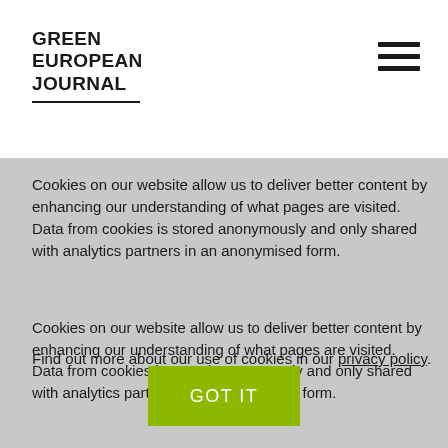GREEN EUROPEAN JOURNAL
collective system built to provide for them when they are in need.
Cookies on our website allow us to deliver better content by enhancing our understanding of what pages are visited. Data from cookies is stored anonymously and only shared with analytics partners in an anonymised form.
Find out more about our use of cookies in our privacy policy.